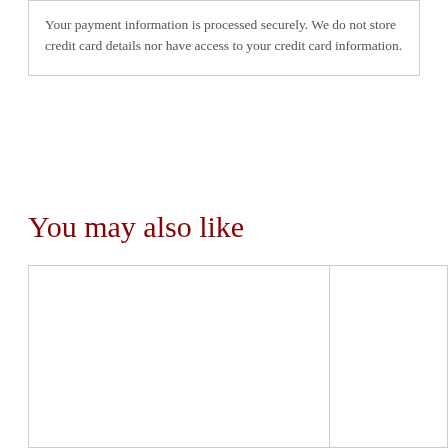Your payment information is processed securely. We do not store credit card details nor have access to your credit card information.
You may also like
[Figure (other): Product recommendation grid showing two product image placeholders side by side, partially visible at the bottom of the page.]